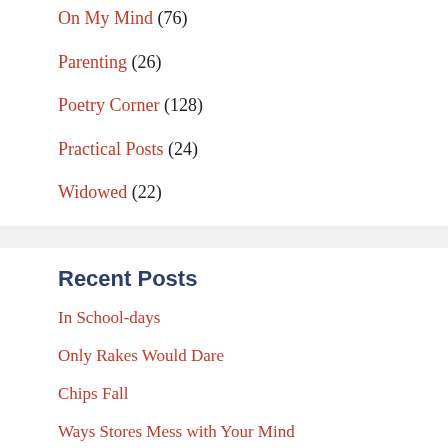On My Mind (76)
Parenting (26)
Poetry Corner (128)
Practical Posts (24)
Widowed (22)
Recent Posts
In School-days
Only Rakes Would Dare
Chips Fall
Ways Stores Mess with Your Mind